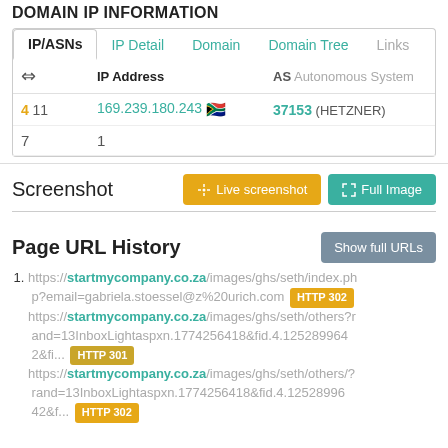DOMAIN IP INFORMATION
|  | IP Address | AS Autonomous System |
| --- | --- | --- |
| 4 11 | 169.239.180.243 [flag] | 37153 (HETZNER) |
| 7 | 1 |  |
Screenshot
Live screenshot | Full Image
Page URL History
https://startmycompany.co.za/images/ghs/seth/index.php?email=gabriela.stoessel@z%20urich.com HTTP 302 https://startmycompany.co.za/images/ghs/seth/others?rand=13InboxLightaspxn.1774256418&fid.4.12528996 42&fi... HTTP 301 https://startmycompany.co.za/images/ghs/seth/others/?rand=13InboxLightaspxn.1774256418&fid.4.1252899642&f... HTTP 302